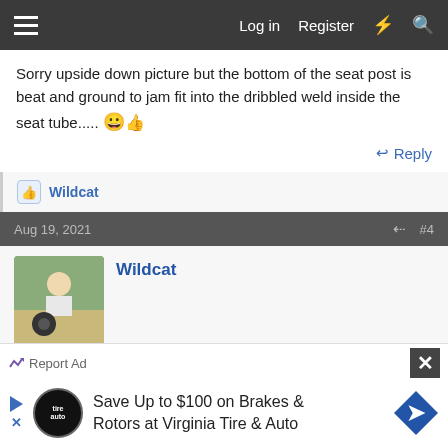Log in  Register
Sorry upside down picture but the bottom of the seat post is beat and ground to jam fit into the dribbled weld inside the seat tube.....
Reply
Wildcat
Aug 19, 2021  #4
Wildcat
They still sell those quilled seat posts. 13/16ths. On the various AMF's I've had, they were always a little too short for
[Figure (screenshot): Advertisement banner: Save Up to $100 on Brakes & Rotors at Virginia Tire & Auto]